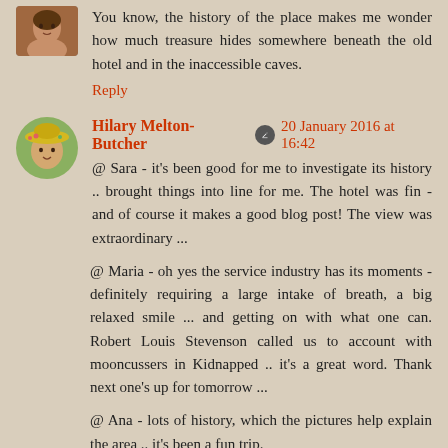You know, the history of the place makes me wonder how much treasure hides somewhere beneath the old hotel and in the inaccessible caves.
Reply
Hilary Melton-Butcher  20 January 2016 at 16:42
@ Sara - it's been good for me to investigate its history .. brought things into line for me. The hotel was fin - and of course it makes a good blog post! The view was extraordinary ...
@ Maria - oh yes the service industry has its moments - definitely requiring a large intake of breath, a big relaxed smile ... and getting on with what one can. Robert Louis Stevenson called us to account with mooncussers in Kidnapped .. it's a great word. Thank next one's up for tomorrow ...
@ Ana - lots of history, which the pictures help explain the area .. it's been a fun trip.